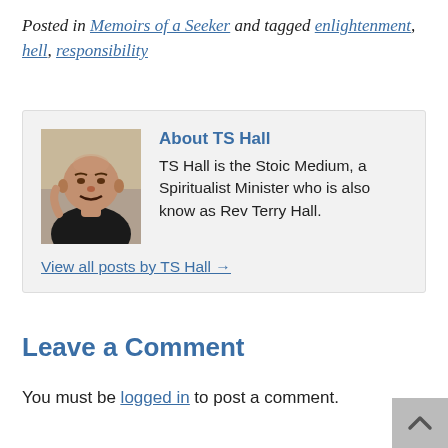Posted in Memoirs of a Seeker and tagged enlightenment, hell, responsibility
About TS Hall
TS Hall is the Stoic Medium, a Spiritualist Minister who is also know as Rev Terry Hall.
View all posts by TS Hall →
Leave a Comment
You must be logged in to post a comment.